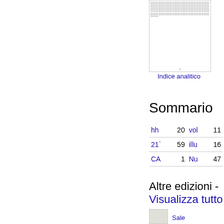[Figure (screenshot): Thumbnail image of a document page showing dense small text in Italian, with a bullet point near the bottom center.]
Indice analitico
Sommario
| hh | 20 | vol | 11 |
| 21` | 59 | illu | 16 |
| CA | 1 | Nu | 47 |
Altre edizioni - Visualizza tutto
Sale